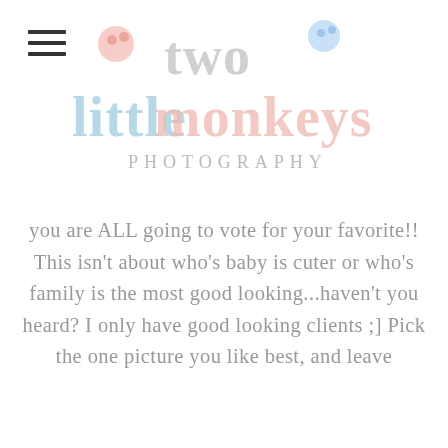[Figure (logo): Two Little Monkeys Photography logo with blue and pink text and monkey face icons]
you are ALL going to vote for your favorite!! This isn't about who's baby is cuter or who's family is the most good looking...haven't you heard? I only have good looking clients ;] Pick the one picture you like best, and leave